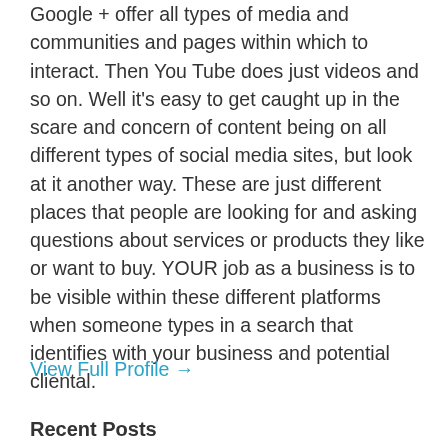Google + offer all types of media and communities and pages within which to interact. Then You Tube does just videos and so on. Well it's easy to get caught up in the scare and concern of content being on all different types of social media sites, but look at it another way. These are just different places that people are looking for and asking questions about services or products they like or want to buy. YOUR job as a business is to be visible within these different platforms when someone types in a search that identifies with your business and potential cliental.
View Full Profile →
Recent Posts